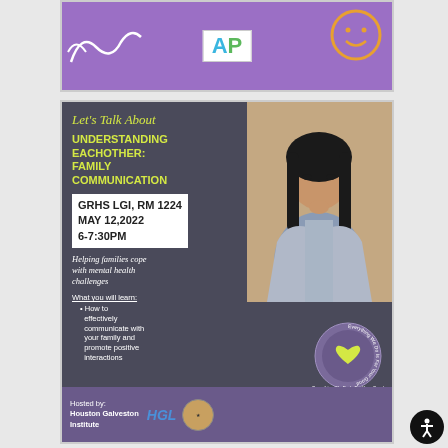[Figure (illustration): Purple banner with AP logo in center, white squiggle on left, orange smiley face on right]
[Figure (infographic): Mental health event flyer on dark gray/purple background. Shows a woman looking distressed. Text reads: Let's Talk About - Understanding Eachother: Family Communication - GRHS LGI, RM 1224, MAY 12, 2022, 6-7:30PM - Helping families cope with mental health challenges - What you will learn: How to effectively communicate with your family and promote positive interactions. Circular badge reads: Everything We Do Is For Your Good. Hosted by: Houston Galveston Institute with HGL logo.]